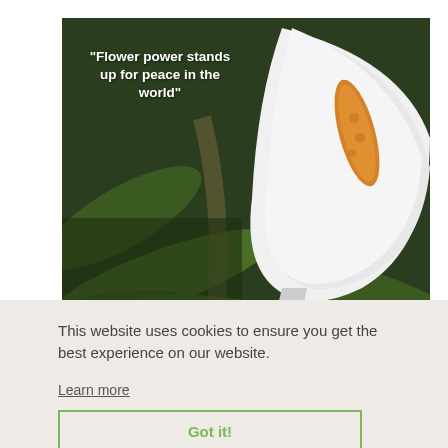[Figure (photo): A white calla lily flower with an orange/yellow spadix against a dark green tropical leaf background. White bold italic text overlaid on the left side reads: "Flower power stands up for peace in the world"]
This website uses cookies to ensure you get the best experience on our website.
Learn more
Got it!